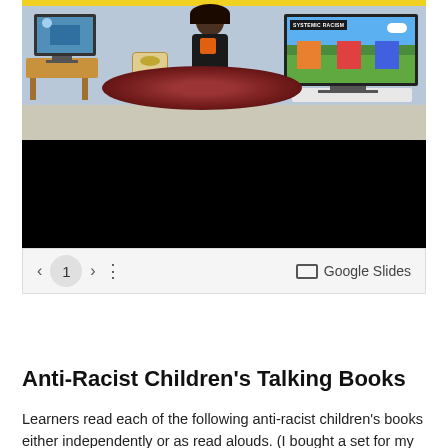[Figure (screenshot): A Google Slides embedded presentation screenshot showing an animated classroom scene with cartoon characters, a TV displaying 'SYSTEMIC RACISM', a radio, rug, and furniture. The lower half of the slide is black. Navigation controls show page 1 and a 'Google Slides' label.]
Anti-Racist Children's Talking Books
Learners read each of the following anti-racist children's books either independently or as read alouds. (I bought a set for my classroom.) To view the full set, access the link to the Wakelet aggregate.